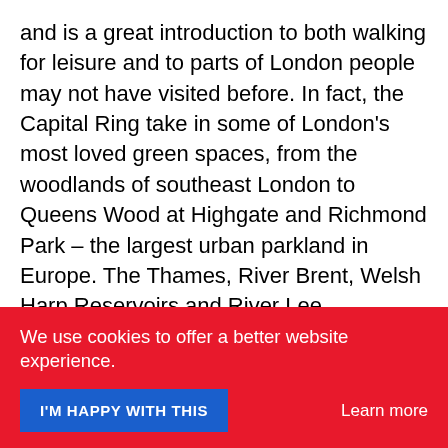and is a great introduction to both walking for leisure and to parts of London people may not have visited before. In fact, the Capital Ring take in some of London's most loved green spaces, from the woodlands of southeast London to Queens Wood at Highgate and Richmond Park – the largest urban parkland in Europe. The Thames, River Brent, Welsh Harp Reservoirs and River Lee Navigation provide picturesque waterside backdrops to the path, while Crystal Palace, Horsden Hill and Harrow on the Hill provide some of the best views. Building and infrastructure fans can feast on over 500 years of history, from the Tudor-era Eltham Palace, the
We use cookies to offer a better website experience.
I'M HAPPY WITH THIS
Learn more
century Queen Elizabeth Olympic Park.